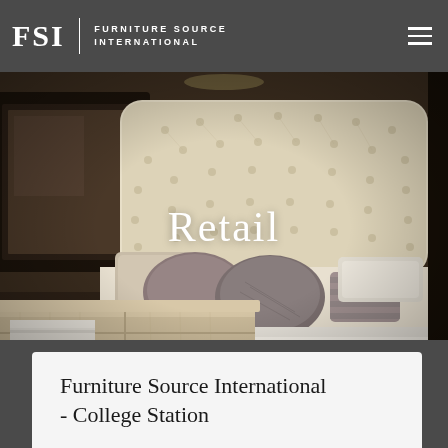FSI FURNITURE SOURCE INTERNATIONAL
[Figure (photo): Bedroom furniture showroom display featuring a large upholstered headboard bed with tufted linen fabric, decorative pillows in grey and mauve tones, a rustic light-wood dresser/chest in the foreground, a white chair visible on the left, and a dark mirror in the background. The word 'Retail' is overlaid in white serif text on the center of the image.]
Furniture Source International - College Station